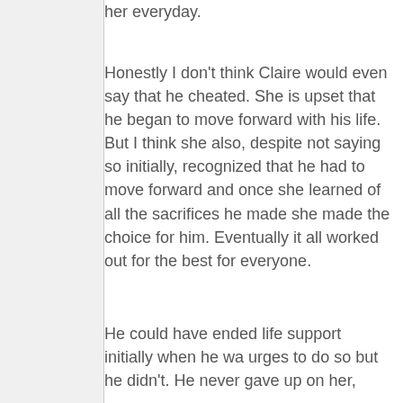her everyday.
Honestly I don't think Claire would even say that he cheated. She is upset that he began to move forward with his life. But I think she also, despite not saying so initially, recognized that he had to move forward and once she learned of all the sacrifices he made she made the choice for him. Eventually it all worked out for the best for everyone.
He could have ended life support initially when he wa urges to do so but he didn't. He never gave up on her,